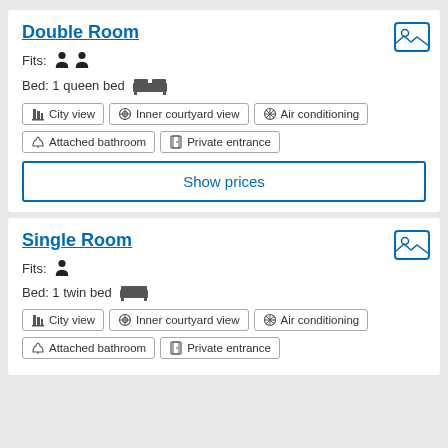Double Room
Fits: 2 persons
Bed: 1 queen bed
City view
Inner courtyard view
Air conditioning
Attached bathroom
Private entrance
Show prices
Single Room
Fits: 1 person
Bed: 1 twin bed
City view
Inner courtyard view
Air conditioning
Attached bathroom
Private entrance